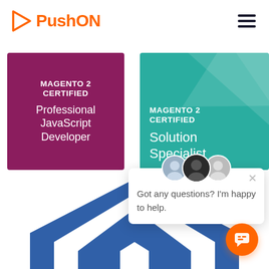[Figure (logo): PushON logo with orange play-button triangle icon and bold orange text 'PushON']
[Figure (illustration): Magenta/purple square badge: 'MAGENTO 2 CERTIFIED Professional JavaScript Developer']
[Figure (illustration): Teal square badge: 'MAGENTO 2 CERTIFIED Solution Specialist']
[Figure (screenshot): Chat popup widget with three circular avatars, close X button, and text 'Got any questions? I'm happy to help.']
[Figure (illustration): Partial blue/white house/Magento logo shape at bottom of page]
[Figure (illustration): Orange circular chat FAB button with chat icon in lower right]